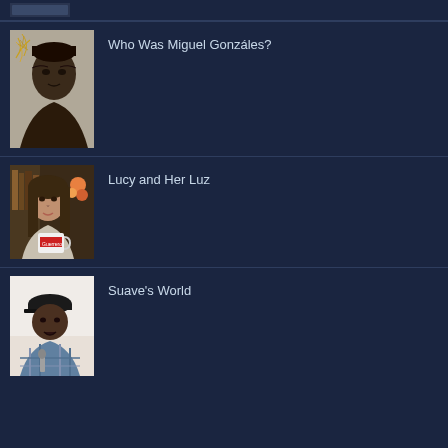[Figure (photo): Partial row from previous entry, cropped at top]
[Figure (photo): Black and white yearbook-style photo of a young Black man with gold leaf decoration overlay]
Who Was Miguel Gonzáles?
[Figure (photo): Color photo of a young Latina woman holding a mug that reads 'Guerrero', with flowers in background]
Lucy and Her Luz
[Figure (photo): Photo of an older Black man speaking at a microphone, wearing a baseball cap and plaid shirt]
Suave's World